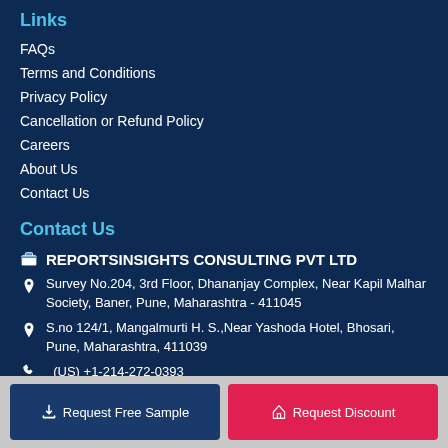Links
FAQs
Terms and Conditions
Privacy Policy
Cancellation or Refund Policy
Careers
About Us
Contact Us
Contact Us
REPORTSINSIGHTS CONSULTING PVT LTD
Survey No.204, 3rd Floor, Dhananjay Complex, Near Kapil Malhar Society, Baner, Pune, Maharashtra - 411045
S.no 124/1, Mangalmurti H. S.,Near Yashoda Hotel, Bhosari, Pune, Maharashtra, 411039
(US) +1-214-272-0393
(UK) +44-208-123-0018
Request Free Sample
Request Discount